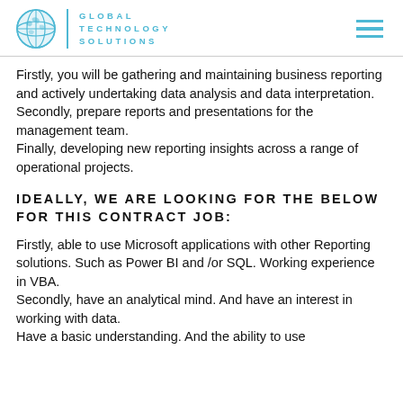GLOBAL TECHNOLOGY SOLUTIONS
Firstly, you will be gathering and maintaining business reporting and actively undertaking data analysis and data interpretation.
Secondly, prepare reports and presentations for the management team.
Finally, developing new reporting insights across a range of operational projects.
IDEALLY, WE ARE LOOKING FOR THE BELOW FOR THIS CONTRACT JOB:
Firstly, able to use Microsoft applications with other Reporting solutions. Such as Power BI and /or SQL. Working experience in VBA.
Secondly, have an analytical mind. And have an interest in working with data.
Have a basic understanding. And the ability to use